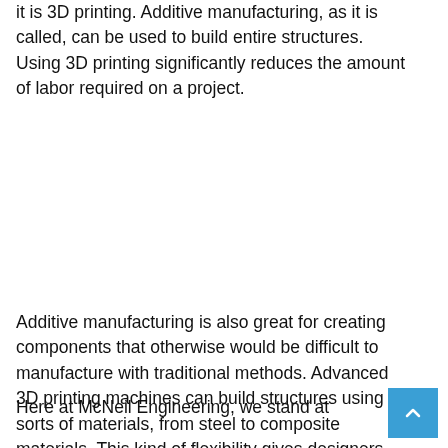it is 3D printing. Additive manufacturing, as it is called, can be used to build entire structures. Using 3D printing significantly reduces the amount of labor required on a project.
Additive manufacturing is also great for creating components that otherwise would be difficult to manufacture with traditional methods. Advanced 3D printing machines can build structures using all sorts of materials, from steel to composite materials. This kind of flexibility gives designers and engineers more flexibility in their designs.
Here at McNeil Engineering, we stand at